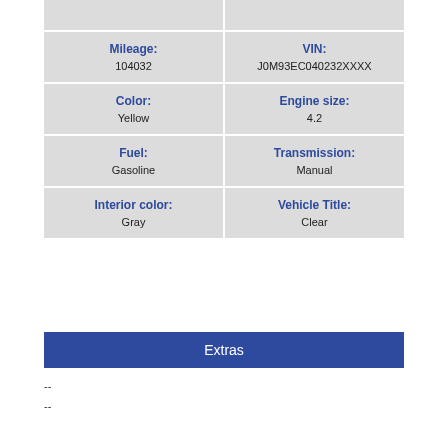|  |  |
| Mileage:
104032 | VIN:
J0M93EC040232XXXX |
| Color:
Yellow | Engine size:
4.2 |
| Fuel:
Gasoline | Transmission:
Manual |
| Interior color:
Gray | Vehicle Title:
Clear |
Extras
--
--